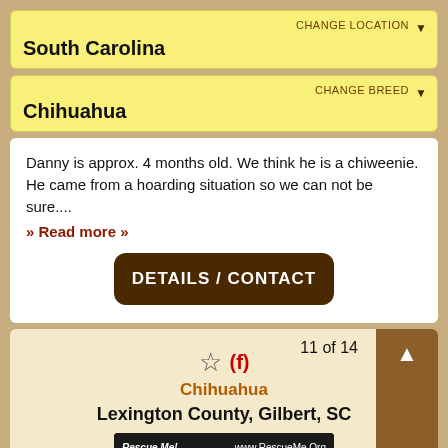South Carolina
CHANGE LOCATION
Chihuahua
CHANGE BREED
Danny is approx. 4 months old. We think he is a chiweenie. He came from a hoarding situation so we can not be sure....
» Read more »
DETAILS / CONTACT
11 of 14
(f)
Chihuahua
Lexington County, Gilbert, SC
[Figure (screenshot): Rescue Me! pet listing photo with www.RescueMe.Org watermark, showing a small dog image]